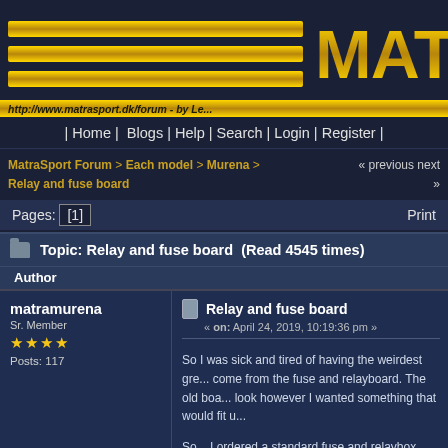[Figure (screenshot): MatraSport forum website header with gold bars and MATR logo text]
http://www.matrasport.dk/forum - by Le...
| Home | Blogs | Help | Search | Login | Register |
MatraSport Forum > Each model > Murena > Relay and fuse board
« previous next »
Pages: [1]   Print
Topic: Relay and fuse board  (Read 4545 times)
Author
matramurena
Sr. Member
★★★★
Posts: 117
Relay and fuse board
« on: April 24, 2019, 10:19:36 pm »
So I was sick and tired of having the weirdest gre... come from the fuse and relayboard. The old boa... look however I wanted something that would fit u...
So... I ordered a standard fuse and relaybox and... under the old cover. Eventually I got it to just fit a... the sides of the old housing. The wiring diagram... patina in hand but becuase of the wire-thickness... to use a subrail for my 12V supply. This way I ca...